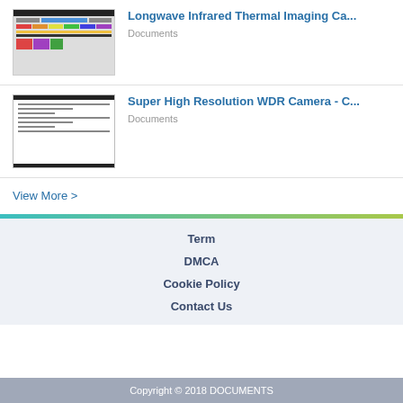[Figure (screenshot): Thumbnail of Longwave Infrared Thermal Imaging Camera document]
Longwave Infrared Thermal Imaging Ca...
Documents
[Figure (screenshot): Thumbnail of Super High Resolution WDR Camera document]
Super High Resolution WDR Camera - C...
Documents
View More >
Term
DMCA
Cookie Policy
Contact Us
Copyright © 2018 DOCUMENTS